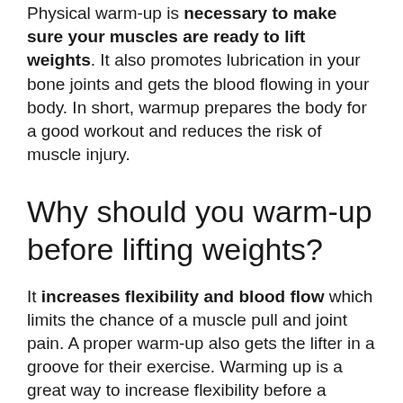Physical warm-up is necessary to make sure your muscles are ready to lift weights. It also promotes lubrication in your bone joints and gets the blood flowing in your body. In short, warmup prepares the body for a good workout and reduces the risk of muscle injury.
Why should you warm-up before lifting weights?
It increases flexibility and blood flow which limits the chance of a muscle pull and joint pain. A proper warm-up also gets the lifter in a groove for their exercise. Warming up is a great way to increase flexibility before a heavy set.